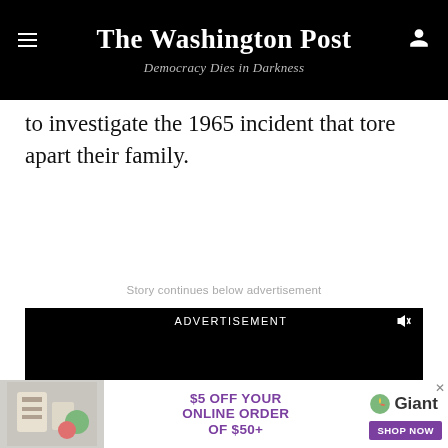The Washington Post — Democracy Dies in Darkness
to investigate the 1965 incident that tore apart their family.
Story continues below advertisement
[Figure (other): Video advertisement placeholder — black rectangle with 'ADVERTISEMENT' label and speaker/mute icon]
[Figure (other): Bottom banner advertisement: '$5 OFF YOUR ONLINE ORDER OF $50+' with Giant grocery store logo and 'SHOP NOW' button]